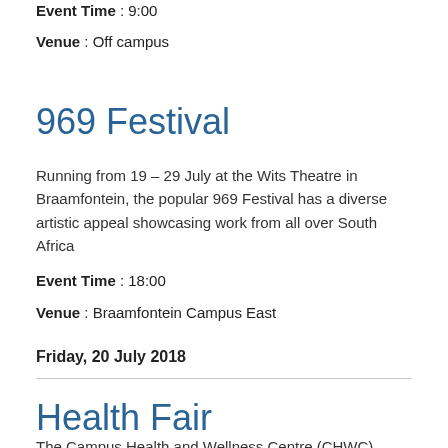Event Time : 9:00
Venue : Off campus
969 Festival
Running from 19 – 29 July at the Wits Theatre in Braamfontein, the popular 969 Festival has a diverse artistic appeal showcasing work from all over South Africa
Event Time : 18:00
Venue : Braamfontein Campus East
Friday, 20 July 2018
Health Fair
The Campus Health and Wellness Centre (CHWC)